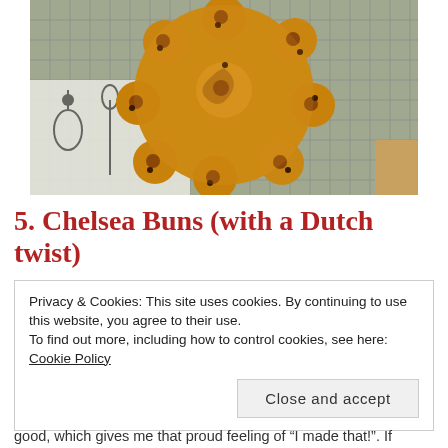[Figure (photo): Overhead photograph of Chelsea buns (cinnamon rolls with raisins/currants) arranged in a circular formation on a wire cooling rack, with a white linen cloth underneath printed with black kitchen utensil illustrations.]
5. Chelsea Buns (with a Dutch twist)
Privacy & Cookies: This site uses cookies. By continuing to use this website, you agree to their use.
To find out more, including how to control cookies, see here: Cookie Policy
Close and accept
good, which gives me that proud feeling of “I made that!”. If